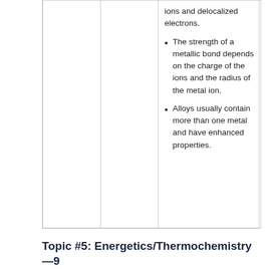|  |  | ions and delocalized electrons.
The strength of a metallic bond depends on the charge of the ions and the radius of the metal ion.
Alloys usually contain more than one metal and have enhanced properties. |
Topic #5: Energetics/Thermochemistry—9 Hours for SL and HL